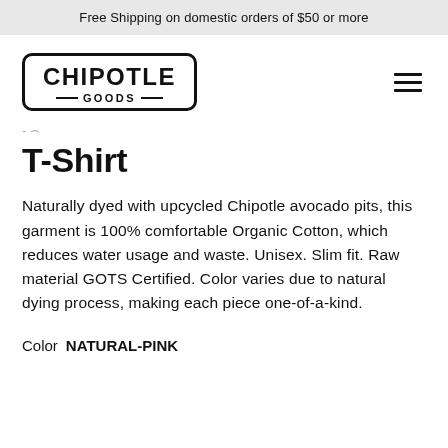Free Shipping on domestic orders of $50 or more
[Figure (logo): Chipotle Goods logo: bold text CHIPOTLE inside a rounded rectangle border, with GOODS in small caps centered below with decorative dashes on each side]
T-Shirt
Naturally dyed with upcycled Chipotle avocado pits, this garment is 100% comfortable Organic Cotton, which reduces water usage and waste. Unisex. Slim fit. Raw material GOTS Certified. Color varies due to natural dying process, making each piece one-of-a-kind.
Color  NATURAL-PINK